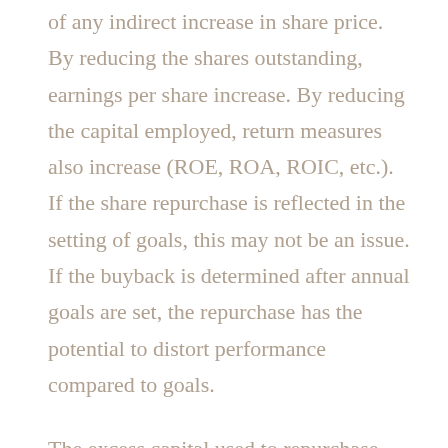of any indirect increase in share price. By reducing the shares outstanding, earnings per share increase. By reducing the capital employed, return measures also increase (ROE, ROA, ROIC, etc.). If the share repurchase is reflected in the setting of goals, this may not be an issue. If the buyback is determined after annual goals are set, the repurchase has the potential to distort performance compared to goals.
The excess capital used to repurchase shares may be the result of